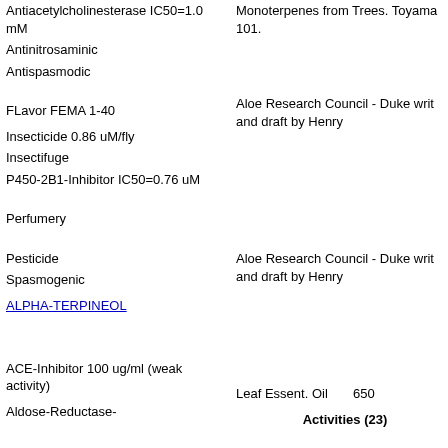Antiacetylcholinesterase IC50=1.0 mM
Antinitrosaminic
Antispasmodic
Monoterpenes from Trees. Toyama... 101.
FLavor FEMA 1-40
Aloe Research Council - Duke writ... and draft by Henry
Insecticide 0.86 uM/fly
Insectifuge
P450-2B1-Inhibitor IC50=0.76 uM
Perfumery
Aloe Research Council - Duke writ... and draft by Henry
Pesticide
Spasmogenic
ALPHA-TERPINEOL    Leaf Essent. Oil    650
Activities (23)
ACE-Inhibitor 100 ug/ml (weak activity)
Aldose-Reductase-
Okamura, K., Iwakami, S., Matsunaga, T. 199...